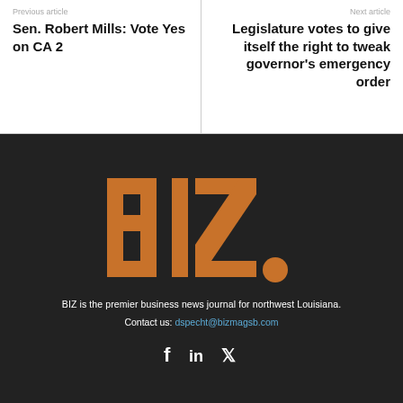Previous article
Sen. Robert Mills: Vote Yes on CA 2
Next article
Legislature votes to give itself the right to tweak governor's emergency order
[Figure (logo): BIZ. logo in orange on dark background]
BIZ is the premier business news journal for northwest Louisiana.
Contact us: dspecht@bizmagsb.com
[Figure (other): Social media icons: Facebook, LinkedIn, Twitter]